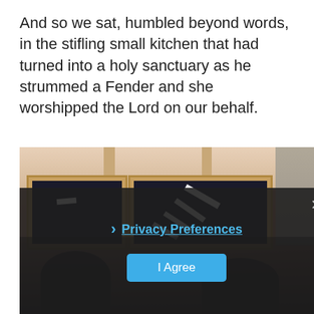And so we sat, humbled beyond words, in the stifling small kitchen that had turned into a holy sanctuary as he strummed a Fender and she worshipped the Lord on our behalf.
[Figure (photo): Interior photo of a small room with salmon/terracotta colored walls, a ceiling with exposed beams, two dark-paned windows with light reflections visible, and silhouettes of people in the lower portion. A dark overlay cookie consent banner covers the lower part of the image.]
› Privacy Preferences
I Agree